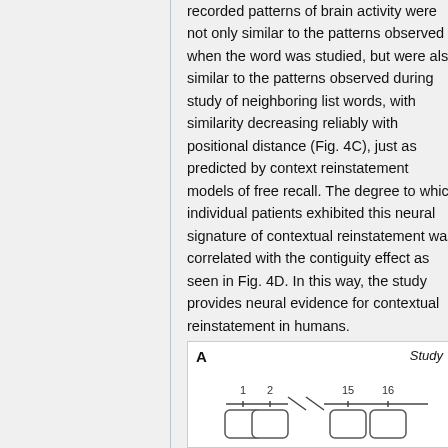recorded patterns of brain activity were not only similar to the patterns observed when the word was studied, but were also similar to the patterns observed during study of neighboring list words, with similarity decreasing reliably with positional distance (Fig. 4C), just as predicted by context reinstatement models of free recall. The degree to which individual patients exhibited this neural signature of contextual reinstatement was correlated with the contiguity effect as seen in Fig. 4D. In this way, the study provides neural evidence for contextual reinstatement in humans.
[Figure (schematic): Panel A showing a study phase timeline with numbered word slots (1, 2, 15, 16) on a horizontal line with a diagonal break indicating items in between. Each slot has a rounded rectangle below the number.]